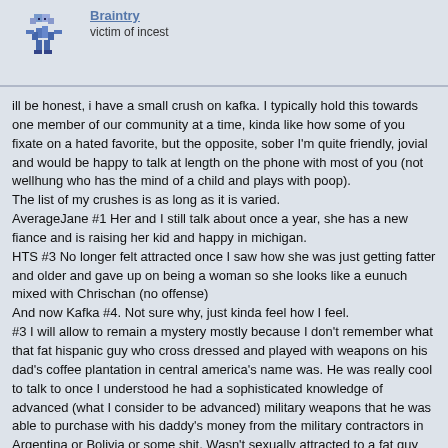[Figure (illustration): Pixel art avatar of a small blue/purple humanoid figure]
victim of incest
ill be honest, i have a small crush on kafka. I typically hold this towards one member of our community at a time, kinda like how some of you fixate on a hated favorite, but the opposite, sober I'm quite friendly, jovial and would be happy to talk at length on the phone with most of you (not wellhung who has the mind of a child and plays with poop).
The list of my crushes is as long as it is varied.
AverageJane #1 Her and I still talk about once a year, she has a new fiance and is raising her kid and happy in michigan.
HTS #3 No longer felt attracted once I saw how she was just getting fatter and older and gave up on being a woman so she looks like a eunuch mixed with Chrischan (no offense)
And now Kafka #4. Not sure why, just kinda feel how I feel.
#3 I will allow to remain a mystery mostly because I don't remember what that fat hispanic guy who cross dressed and played with weapons on his dad's coffee plantation in central america's name was. He was really cool to talk to once I understood he had a sophisticated knowledge of advanced (what I consider to be advanced) military weapons that he was able to purchase with his daddy's money from the military contractors in Argentina or Bolivia or some shit. Wasn't sexually attracted to a fat guy though, only emotionally and intellectually attatched.